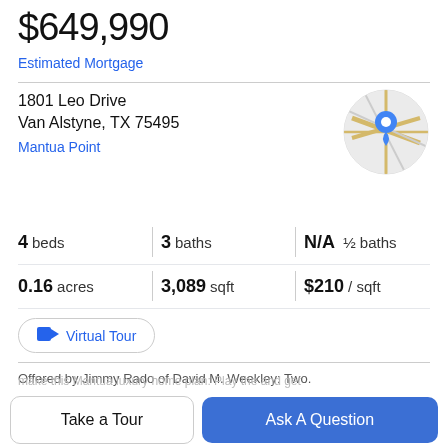$649,990
Estimated Mortgage
1801 Leo Drive
Van Alstyne, TX 75495
Mantua Point
[Figure (map): Circular map thumbnail showing location with blue pin marker, street layout in gray and yellow]
| Stat | Value |
| --- | --- |
| beds | 4 |
| baths | 3 |
| ½ baths | N/A |
| acres | 0.16 |
| sqft | 3,089 |
| $ / sqft | $210 |
Virtual Tour
Offered by Jimmy Rado of David M. Weekley: Two.
Property Description
Take a Tour
Ask A Question